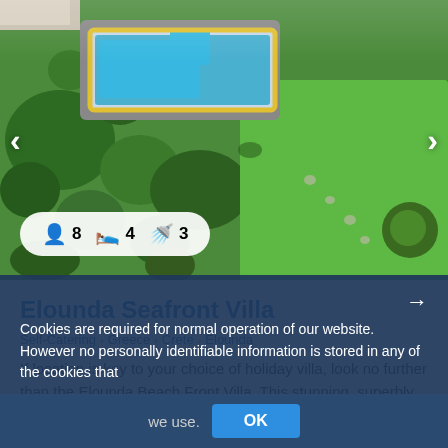[Figure (photo): Aerial view of a villa with a swimming pool, lush garden landscaping, and well-manicured green lawn. Navigation arrows on left and right sides. White pill showing: person icon 8, bed icon 4, bath icon 3.]
Elounda Seafront Villa
Self-Catering › Greece › Crete › Elounda
If location is key to your choice of holiday villa, look no further than the Elounda Beach Front Villa. This stunning, superbly appointed property occupies a privileged position right on the shores of...
Cookies are required for normal operation of our website. However no personally identifiable information is stored in any of the cookies that we use.